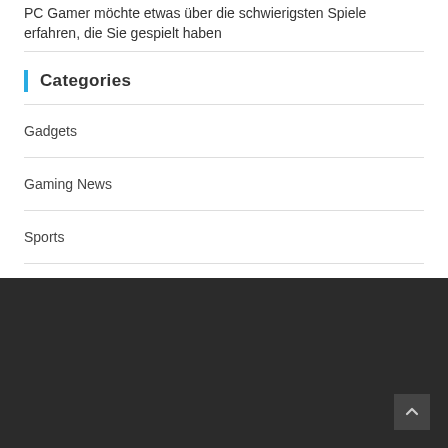PC Gamer möchte etwas über die schwierigsten Spiele erfahren, die Sie gespielt haben
Categories
Gadgets
Gaming News
Sports